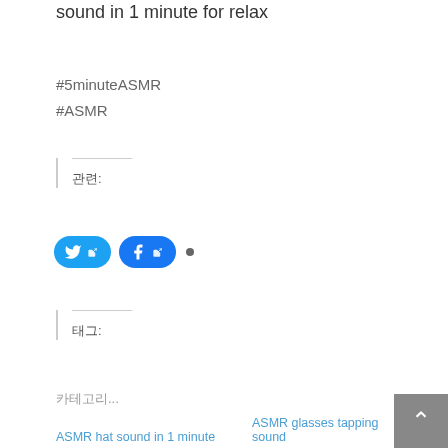sound in 1 minute for relax
#5minuteASMR
#ASMR
관련:
[Figure (other): Twitter and Facebook share buttons (blue circular/oval buttons with icons and external link icons), followed by a small dark dot]
태그:
카테고리...
글
ASMR hat sound in 1 minute
ASMR glasses tapping sound